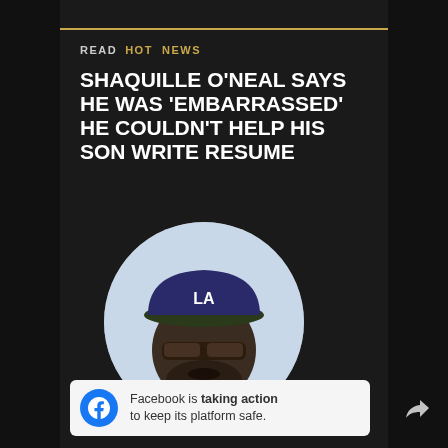READ  HOT NEWS
SHAQUILLE O'NEAL SAYS HE WAS 'EMBARRASSED' HE COULDN'T HELP HIS SON WRITE RESUME
[Figure (photo): Circular portrait photo of Shaquille O'Neal wearing a dark blue LA Dodgers cap with green brim and tinted glasses, white shirt, light background]
Facebook is taking action to keep its platform safe.